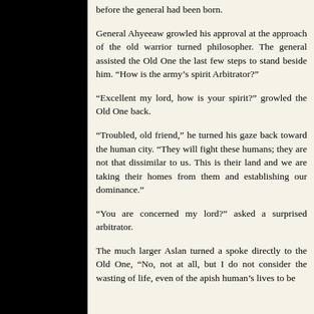before the general had been born.
General Ahyeeaw growled his approval at the approach of the old warrior turned philosopher. The general assisted the Old One the last few steps to stand beside him. “How is the army’s spirit Arbitrator?”
“Excellent my lord, how is your spirit?” growled the Old One back.
“Troubled, old friend,” he turned his gaze back toward the human city. “They will fight these humans; they are not that dissimilar to us. This is their land and we are taking their homes from them and establishing our dominance.”
“You are concerned my lord?” asked a surprised arbitrator.
The much larger Aslan turned a spoke directly to the Old One, “No, not at all, but I do not consider the wasting of life, even of the apish human’s lives to be